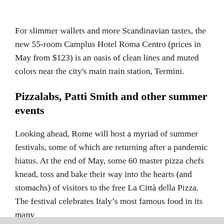For slimmer wallets and more Scandinavian tastes, the new 55-room Camplus Hotel Roma Centro (prices in May from $123) is an oasis of clean lines and muted colors near the city's main train station, Termini.
Pizzalabs, Patti Smith and other summer events
Looking ahead, Rome will host a myriad of summer festivals, some of which are returning after a pandemic hiatus. At the end of May, some 60 master pizza chefs knead, toss and bake their way into the hearts (and stomachs) of visitors to the free La Città della Pizza. The festival celebrates Italy's most famous food in its many